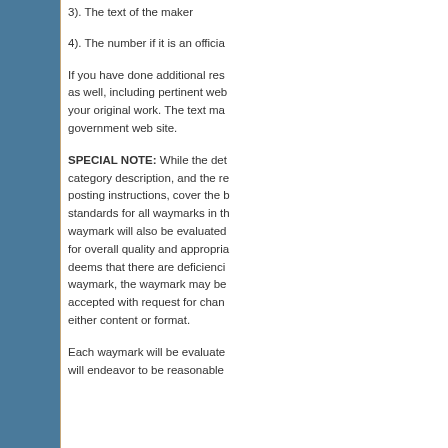3). The text of the maker
4). The number if it is an officia
If you have done additional res as well, including pertinent web your original work. The text ma government web site.
SPECIAL NOTE: While the det category description, and the re posting instructions, cover the b standards for all waymarks in th waymark will also be evaluated for overall quality and appropria deems that there are deficienci waymark, the waymark may be accepted with request for chan either content or format.
Each waymark will be evaluate will endeavor to be reasonable